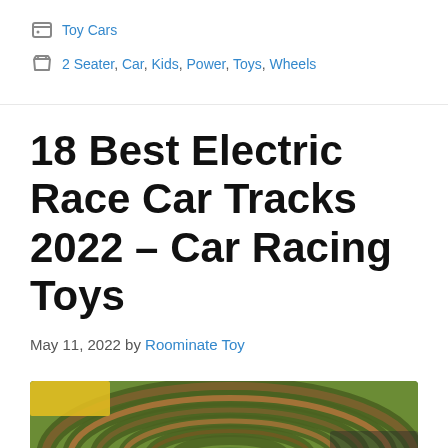Toy Cars
2 Seater, Car, Kids, Power, Toys, Wheels
18 Best Electric Race Car Tracks 2022 – Car Racing Toys
May 11, 2022 by Roominate Toy
[Figure (photo): A colorful electric race car track toy with spiral track in green, brown, and orange tones, with 'Best' text overlay on a green badge]